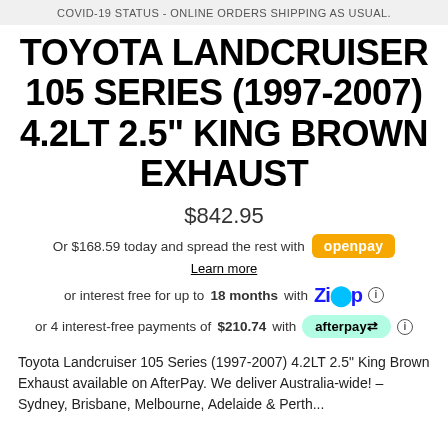COVID-19 STATUS - ONLINE ORDERS SHIPPING AS USUAL.
TOYOTA LANDCRUISER 105 SERIES (1997-2007) 4.2LT 2.5" KING BROWN EXHAUST
$842.95
Or $168.59 today and spread the rest with openpay
Learn more
or interest free for up to 18 months with Zip
or 4 interest-free payments of $210.74 with afterpay
Toyota Landcruiser 105 Series (1997-2007) 4.2LT 2.5" King Brown Exhaust available on AfterPay. We deliver Australia-wide! – Sydney, Brisbane, Melbourne, Adelaide & Perth...